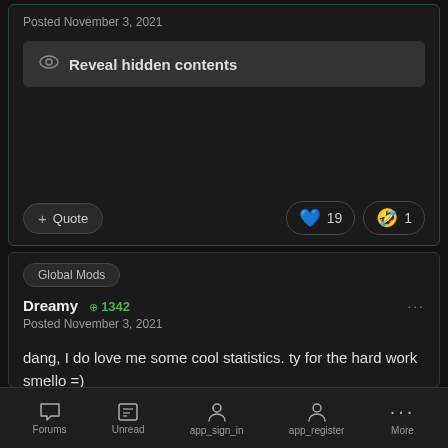Posted November 3, 2021
Reveal hidden contents
+ Quote
❤ 19  🤣 1
Global Mods
Dreamy +1342
Posted November 3, 2021
dang, I do love me some cool statistics. ty for the hard work smello =)
Forums  Unread  app_sign_in  app_register  More